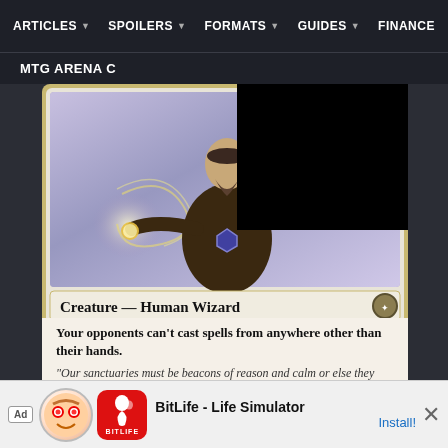ARTICLES  SPOILERS  FORMATS  GUIDES  FINANCE
MTG ARENA C
[Figure (illustration): Magic: The Gathering card showing a Human Wizard character with glowing magical energy swirls, partially covered by a black rectangle overlay in the top right. Card text reads: Creature — Human Wizard. Your opponents can't cast spells from anywhere other than their hands. Flavor text: "Our sanctuaries must be beacons of reason and calm or else they will fall."]
Creature — Human Wizard
Your opponents can't cast spells from anywhere other than their hands.
"Our sanctuaries must be beacons of reason and calm or else they will fall."
Ad  BitLife - Life Simulator  Install!